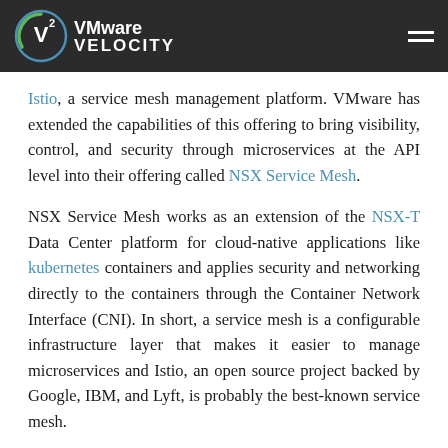VMware Velocity
Istio, a service mesh management platform. VMware has extended the capabilities of this offering to bring visibility, control, and security through microservices at the API level into their offering called NSX Service Mesh.
NSX Service Mesh works as an extension of the NSX-T Data Center platform for cloud-native applications like kubernetes containers and applies security and networking directly to the containers through the Container Network Interface (CNI). In short, a service mesh is a configurable infrastructure layer that makes it easier to manage microservices and Istio, an open source project backed by Google, IBM, and Lyft, is probably the best-known service mesh.
VMware has been a contributor to Istio and has participated in open source community projects like